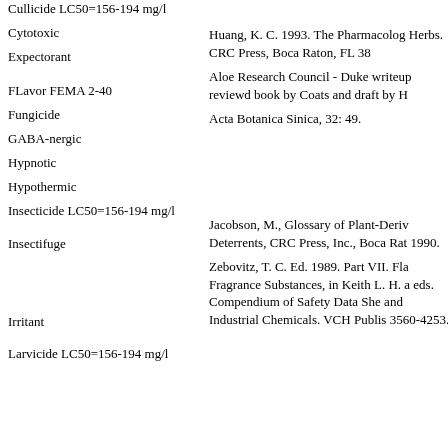Cullicide LC50=156-194 mg/l
Cytotoxic
Expectorant
Huang, K. C. 1993. The Pharmacolog Herbs. CRC Press, Boca Raton, FL 38
FLavor FEMA 2-40
Aloe Research Council - Duke writeup reviewd book by Coats and draft by H
Fungicide
Acta Botanica Sinica, 32: 49.
GABA-nergic
Hypnotic
Hypothermic
Insecticide LC50=156-194 mg/l
Insectifuge
Jacobson, M., Glossary of Plant-Deriv Deterrents, CRC Press, Inc., Boca Rat 1990.
Zebovitz, T. C. Ed. 1989. Part VII. Fla Fragrance Substances, in Keith L. H. a eds. Compendium of Safety Data She and Industrial Chemicals. VCH Publis 3560-4253.
Irritant
Larvicide LC50=156-194 mg/l